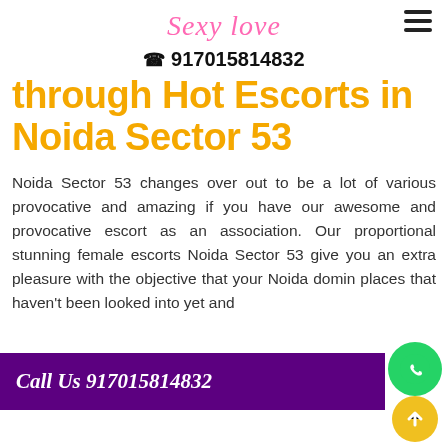[Figure (logo): Handwritten-style logo reading 'Sexy Love' in pink cursive font]
☎ 917015814832
through Hot Escorts in Noida Sector 53
Noida Sector 53 changes over out to be a lot of various provocative and amazing if you have our awesome and provocative escort as an association. Our proportional stunning female escorts Noida Sector 53 give you an extra pleasure with the objective that your Noida... domin... places that haven't been looked into yet and
[Figure (infographic): Purple banner with 'Call Us 917015814832' in white italic text, with a green WhatsApp circle button and a yellow up-arrow circle button]